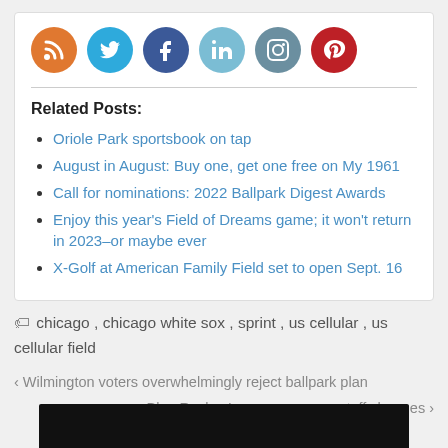[Figure (infographic): Row of social media icon circles: RSS (orange), Twitter (blue), Facebook (dark blue), LinkedIn (light blue), Instagram (grey-blue), Pinterest (red)]
Related Posts:
Oriole Park sportsbook on tap
August in August: Buy one, get one free on My 1961
Call for nominations: 2022 Ballpark Digest Awards
Enjoy this year's Field of Dreams game; it won't return in 2023–or maybe ever
X-Golf at American Family Field set to open Sept. 16
chicago , chicago white sox , sprint , us cellular , us cellular field
‹ Wilmington voters overwhelmingly reject ballpark plan
Blue Rocks, Loons announce staff changes ›
[Figure (photo): Black rectangle at bottom of page]